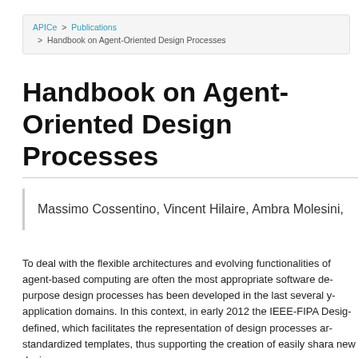APICe > Publications > Handbook on Agent-Oriented Design Processes
Handbook on Agent-Oriented Design Processes
Massimo Cossentino, Vincent Hilaire, Ambra Molesini,
To deal with the flexible architectures and evolving functionalities of agent-based computing are often the most appropriate software design purpose design processes has been developed in the last several years across application domains. In this context, in early 2012 the IEEE-FIPA Design defined, which facilitates the representation of design processes and standardized templates, thus supporting the creation of easily sharable new design processes.